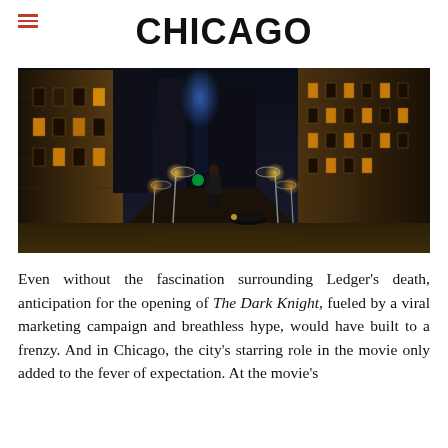CHICAGO
[Figure (photo): Night scene of a lone figure standing in the middle of a city street flanked by tall buildings lit with warm golden lights, resembling a Dark Knight movie still set in Chicago.]
Even without the fascination surrounding Ledger’s death, anticipation for the opening of The Dark Knight, fueled by a viral marketing campaign and breathless hype, would have built to a frenzy. And in Chicago, the city’s starring role in the movie only added to the fever of expectation. At the movie’s